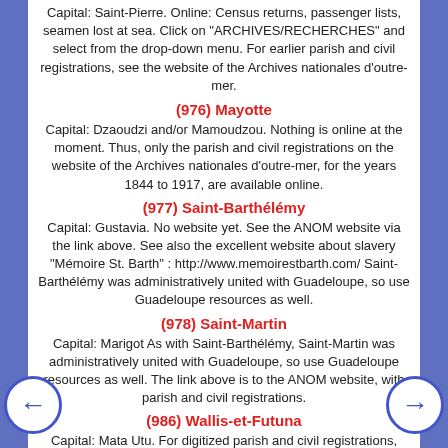Capital: Saint-Pierre. Online: Census returns, passenger lists, seamen lost at sea. Click on "ARCHIVES/RECHERCHES" and select from the drop-down menu. For earlier parish and civil registrations, see the website of the Archives nationales d'outre-mer.
(976) Mayotte
Capital: Dzaoudzi and/or Mamoudzou. Nothing is online at the moment. Thus, only the parish and civil registrations on the website of the Archives nationales d'outre-mer, for the years 1844 to 1917, are available online.
(977) Saint-Barthélémy
Capital: Gustavia. No website yet. See the ANOM website via the link above. See also the excellent website about slavery "Mémoire St. Barth" : http://www.memoirestbarth.com/ Saint-Barthélémy was administratively united with Guadeloupe, so use Guadeloupe resources as well.
(978) Saint-Martin
Capital: Marigot As with Saint-Barthélémy, Saint-Martin was administratively united with Guadeloupe, so use Guadeloupe resources as well. The link above is to the ANOM website, with parish and civil registrations.
(986) Wallis-et-Futuna
Capital: Mata Utu. For digitized parish and civil registrations,